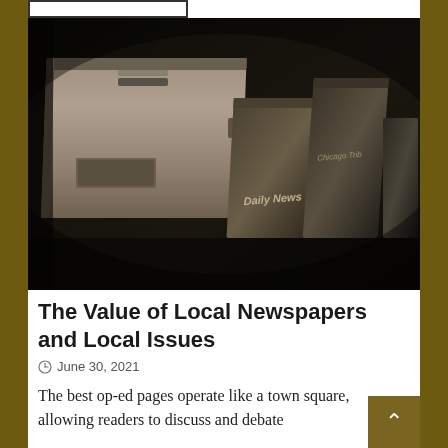[Figure (photo): Dark sepia-toned photograph of newspaper vending/dispensing boxes stacked and arranged, with 'Daily News' and another newspaper name visible on the boxes]
The Value of Local Newspapers and Local Issues
June 30, 2021
The best op-ed pages operate like a town square, allowing readers to discuss and debate